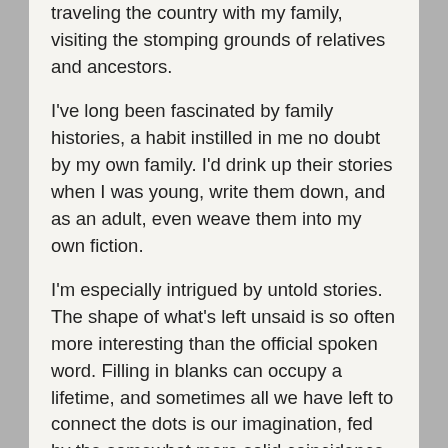traveling the country with my family, visiting the stomping grounds of relatives and ancestors.
I've long been fascinated by family histories, a habit instilled in me no doubt by my own family. I'd drink up their stories when I was young, write them down, and as an adult, even weave them into my own fiction.
I'm especially intrigued by untold stories. The shape of what's left unsaid is so often more interesting than the official spoken word. Filling in blanks can occupy a lifetime, and sometimes all we have left to connect the dots is our imagination, fed by the somewhat more solid coincidence of history.
On this last trip to Germany, I was given a new blank page in my family history. It turned up in the most unexpected of places, as part of my maternal